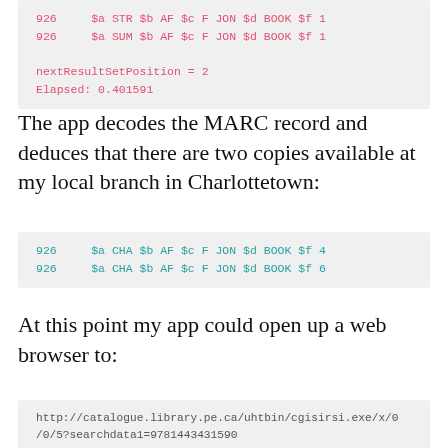[Figure (screenshot): Code block showing MARC record lines with pink monospace text: '926    $a STR $b AF $c F JON $d BOOK $f 1' and '926    $a SUM $b AF $c F JON $d BOOK $f 1', followed by 'nextResultSetPosition = 2' and 'Elapsed: 0.401591']
The app decodes the MARC record and deduces that there are two copies available at my local branch in Charlottetown:
[Figure (screenshot): Code block showing MARC record lines with teal monospace text: '926    $a CHA $b AF $c F JON $d BOOK $f 4' and '926    $a CHA $b AF $c F JON $d BOOK $f 6']
At this point my app could open up a web browser to:
[Figure (screenshot): Code block showing URL in gray monospace: 'http://catalogue.library.pe.ca/uhtbin/cgisirsi.exe/x/0/0/5?searchdata1=9781443431590']